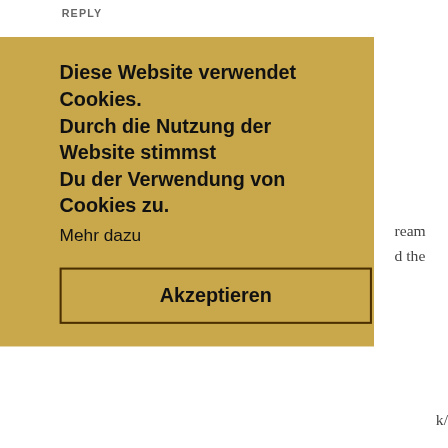REPLY
[Figure (screenshot): Cookie consent overlay with golden/tan background. Text reads: 'Diese Website verwendet Cookies. Durch die Nutzung der Website stimmst Du der Verwendung von Cookies zu.' with a 'Mehr dazu' link and an 'Akzeptieren' button.]
x
REPLY
Abdel B. August 22, 2014 at 2:30 AM
This comment has been removed by the author.
REPLY